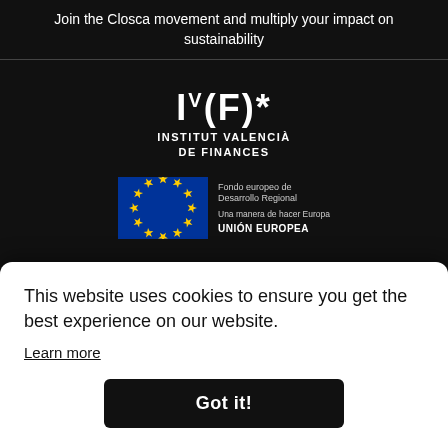Join the Closca movement and multiply your impact on sustainability
[Figure (logo): Institut Valencià de Finances logo — stylized IVF text with superscript V, (F) and asterisk, followed by bold text INSTITUT VALENCIÀ DE FINANCES]
[Figure (logo): EU flag and Fondo europeo de Desarrollo Regional / UNIÓN EUROPEA logo block with text: Fondo europeo de Desarrollo Regional, Una manera de hacer Europa, UNIÓN EUROPEA]
Proyecto cofinanciado por la Unión Europea a través del Programa Operativo Regional del Fondo Europeo de Desarrollo Regional
This website uses cookies to ensure you get the best experience on our website.
Learn more
Got it!